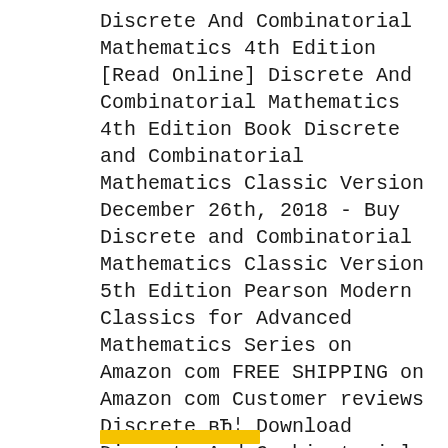Discrete And Combinatorial Mathematics 4th Edition [Read Online] Discrete And Combinatorial Mathematics 4th Edition Book Discrete and Combinatorial Mathematics Classic Version December 26th, 2018 - Buy Discrete and Combinatorial Mathematics Classic Version 5th Edition Pearson Modern Classics for Advanced Mathematics Series on Amazon com FREE SHIPPING on Amazon com Customer reviews Discrete вЂ¦ Download Discrete And Combinatorial Mathematics 4th Edition Pdf Download Discrete And Combinatorial Mathematics 4th Edition free pdf , Download Discrete
[Figure (other): Yellow horizontal bar/stripe at the bottom of the page]